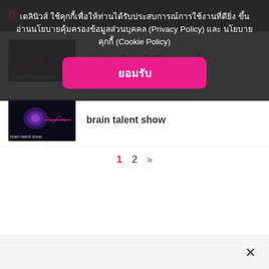เดลินิวส์ ใช้คุกกี้เพื่อให้ท่านได้รับประสบการณ์การใช้งานที่ดียิ่งขึ้น อ่านนโยบายคุ้มครองข้อมูลส่วนบุคคล (Privacy Policy) และ นโยบายคุกกี้ (Cookie Policy)
ยอมรับ
[Figure (photo): Thumbnail image for article about not repeating mistakes, showing a monitor with a heart rate line]
ทำอย่างไรจะไม่ผิดพลาดซ้ำ
[Figure (photo): Thumbnail image for brain talent show, showing a glowing brain]
brain talent show
1  2  »
×